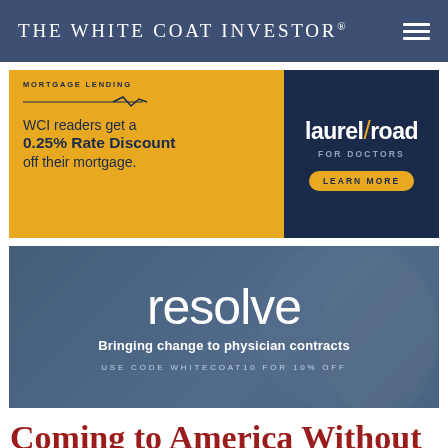THE WHITE COAT INVESTOR®
[Figure (illustration): Laurel Road mortgage lending advertisement: gold left panel reading 'MORTGAGE LENDING — WCI readers get a 0.25% Rate Discount off their mortgage.' Navy right panel with Laurel Road for Doctors logo and 'LEARN MORE' button.]
[Figure (illustration): Resolve advertisement on dark blue background with doctor image: 'resolve' large white text, 'Bringing change to physician contracts', 'USE CODE WHITECOAT10 FOR 10% OFF']
Coming to America Without Knowing How This